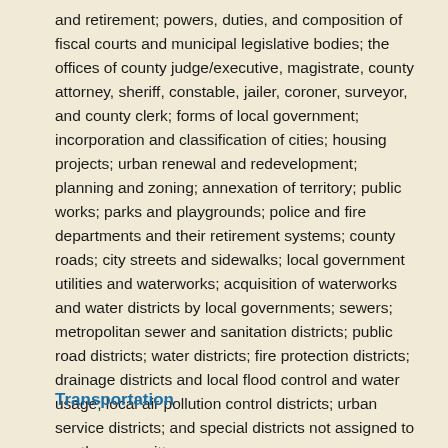and retirement; powers, duties, and composition of fiscal courts and municipal legislative bodies; the offices of county judge/executive, magistrate, county attorney, sheriff, constable, jailer, coroner, surveyor, and county clerk; forms of local government; incorporation and classification of cities; housing projects; urban renewal and redevelopment; planning and zoning; annexation of territory; public works; parks and playgrounds; police and fire departments and their retirement systems; county roads; city streets and sidewalks; local government utilities and waterworks; acquisition of waterworks and water districts by local governments; sewers; metropolitan sewer and sanitation districts; public road districts; water districts; fire protection districts; drainage districts and local flood control and water usage; local air pollution control districts; urban service districts; and special districts not assigned to another committee.
Transportation